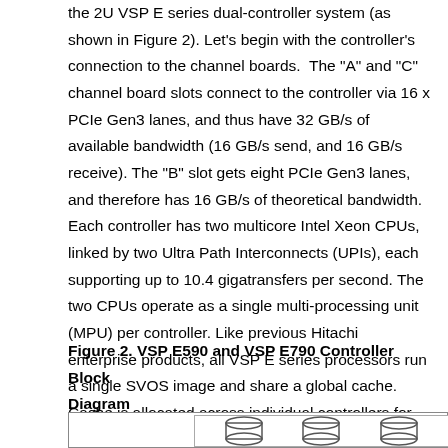the 2U VSP E series dual-controller system (as shown in Figure 2). Let's begin with the controller's connection to the channel boards. The "A" and "C" channel board slots connect to the controller via 16 x PCIe Gen3 lanes, and thus have 32 GB/s of available bandwidth (16 GB/s send, and 16 GB/s receive). The "B" slot gets eight PCIe Gen3 lanes, and therefore has 16 GB/s of theoretical bandwidth. Each controller has two multicore Intel Xeon CPUs, linked by two Ultra Path Interconnects (UPIs), each supporting up to 10.4 gigatransfers per second. The two CPUs operate as a single multi-processing unit (MPU) per controller. Like previous Hitachi enterprise products, all VSP E series processors run a single SVOS image and share a global cache. Cache is allocated across individual controllers for fast, efficient, and balanced memory access.
Figure 2. VSP E590 and VSP E790 Controller Block Diagram
[Figure (engineering-diagram): Partial view of VSP E590 and VSP E790 Controller Block Diagram showing the top portion with cylinder/disk icons arranged in a row inside a bordered box.]